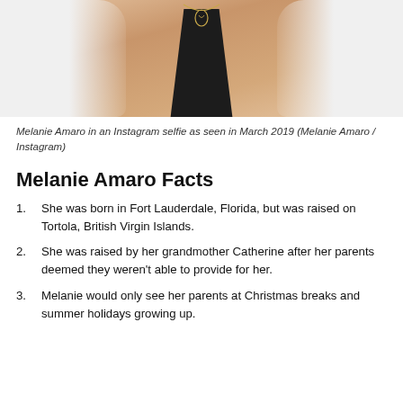[Figure (photo): Close-up Instagram selfie of Melanie Amaro wearing a white waffle-knit cardigan over a black top, with a gold necklace pendant visible, cropped at chest level.]
Melanie Amaro in an Instagram selfie as seen in March 2019 (Melanie Amaro / Instagram)
Melanie Amaro Facts
She was born in Fort Lauderdale, Florida, but was raised on Tortola, British Virgin Islands.
She was raised by her grandmother Catherine after her parents deemed they weren't able to provide for her.
Melanie would only see her parents at Christmas breaks and summer holidays growing up.